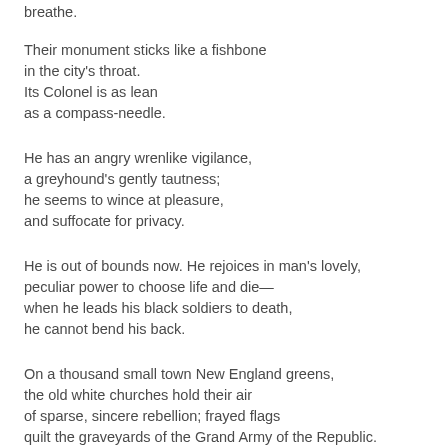breathe.
Their monument sticks like a fishbone
in the city's throat.
Its Colonel is as lean
as a compass-needle.
He has an angry wrenlike vigilance,
a greyhound's gently tautness;
he seems to wince at pleasure,
and suffocate for privacy.
He is out of bounds now. He rejoices in man's lovely,
peculiar power to choose life and die—
when he leads his black soldiers to death,
he cannot bend his back.
On a thousand small town New England greens,
the old white churches hold their air
of sparse, sincere rebellion; frayed flags
quilt the graveyards of the Grand Army of the Republic.